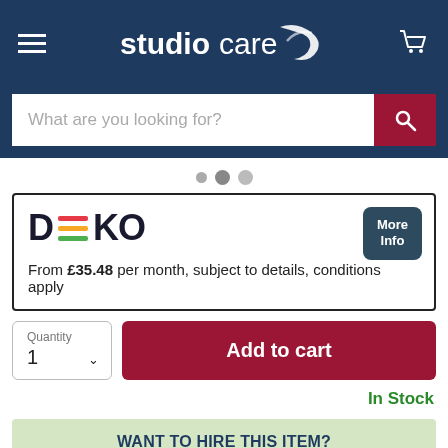[Figure (screenshot): Studiocare website header with hamburger menu, studiocare logo with swoosh, and cart icon on dark navy background]
[Figure (screenshot): Search bar with placeholder text 'What are you looking for?' and crimson search button]
[Figure (other): Three pagination dots in a row]
From £35.48 per month, subject to details, conditions apply
Quantity 1
Add to cart
In Stock
WANT TO HIRE THIS ITEM? Click here to contact our Hire Team to check the availability
Share this: